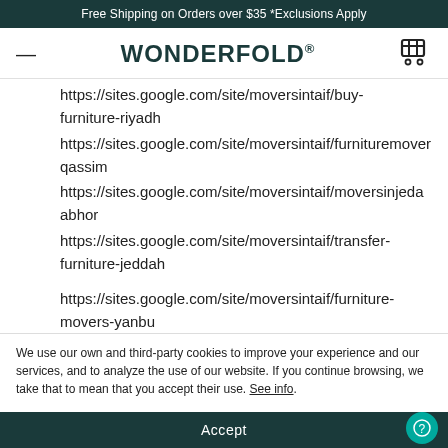Free Shipping on Orders over $35 *Exclusions Apply
WONDERFOLD®
https://sites.google.com/site/moversintaif/buy-furniture-riyadh
https://sites.google.com/site/moversintaif/furnituremoverqassim
https://sites.google.com/site/moversintaif/moversinjeddaabhor
https://sites.google.com/site/moversintaif/transfer-furniture-jeddah

https://sites.google.com/site/moversintaif/furniture-movers-yanbu
https://sites.google.com/site/moversintaif/moversinqassim
https://sites.google.com/site/moversintaif/movers-ahsa
We use our own and third-party cookies to improve your experience and our services, and to analyze the use of our website. If you continue browsing, we take that to mean that you accept their use. See info.
Accept